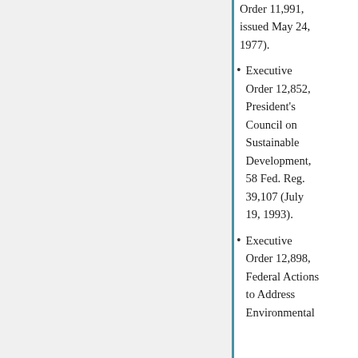Order 11,991, issued May 24, 1977).
Executive Order 12,852, President's Council on Sustainable Development, 58 Fed. Reg. 39,107 (July 19, 1993).
Executive Order 12,898, Federal Actions to Address Environmental